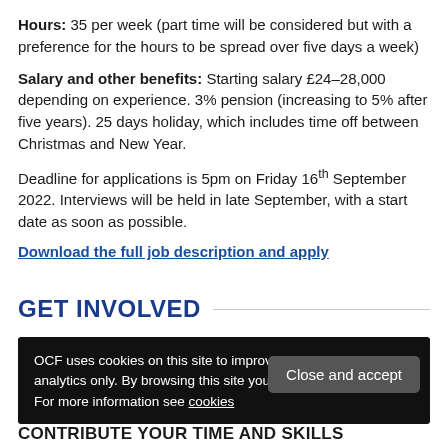Hours: 35 per week (part time will be considered but with a preference for the hours to be spread over five days a week)
Salary and other benefits: Starting salary £24–28,000 depending on experience. 3% pension (increasing to 5% after five years). 25 days holiday, which includes time off between Christmas and New Year.
Deadline for applications is 5pm on Friday 16th September 2022. Interviews will be held in late September, with a start date as soon as possible.
Download the full job description and apply
GET INVOLVED
OCF uses cookies on this site to improve performance and for analytics only. By browsing this site you are agreeing to this. For more information see cookies
Close and accept
CONTRIBUTE YOUR TIME AND SKILLS